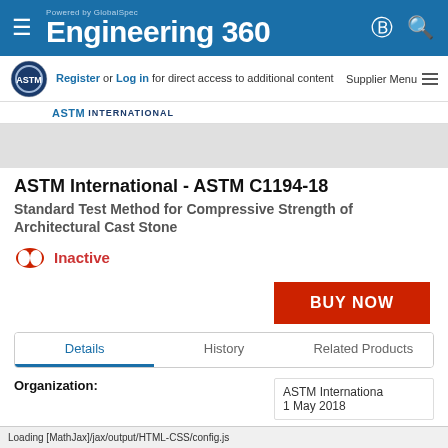Powered by GlobalSpec Engineering 360
Register or Log in for direct access to additional content  Supplier Menu
ASTM International - ASTM C1194-18
Standard Test Method for Compressive Strength of Architectural Cast Stone
Inactive
BUY NOW
Details  History  Related Products
Organization:
ASTM International
1 May 2018
Loading [MathJax]/jax/output/HTML-CSS/config.js